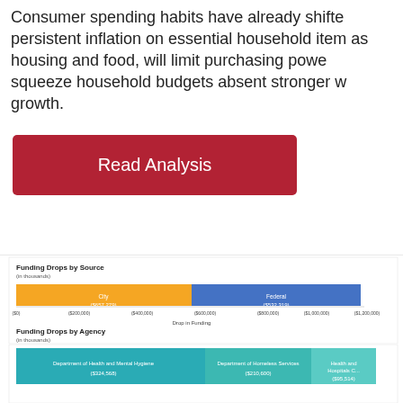Consumer spending habits have already shifted. persistent inflation on essential household items, as housing and food, will limit purchasing power, squeeze household budgets absent stronger wage growth.
[Figure (other): Red button labeled 'Read Analysis']
[Figure (stacked-bar-chart): Funding Drops by Source (in thousands)]
[Figure (stacked-bar-chart): Funding Drops by Agency (in thousands)]